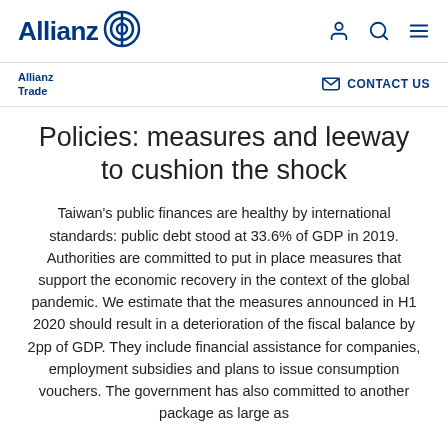Allianz [logo]
Allianz Trade | CONTACT US
Policies: measures and leeway to cushion the shock
Taiwan's public finances are healthy by international standards: public debt stood at 33.6% of GDP in 2019. Authorities are committed to put in place measures that support the economic recovery in the context of the global pandemic. We estimate that the measures announced in H1 2020 should result in a deterioration of the fiscal balance by 2pp of GDP. They include financial assistance for companies, employment subsidies and plans to issue consumption vouchers. The government has also committed to another package as large as